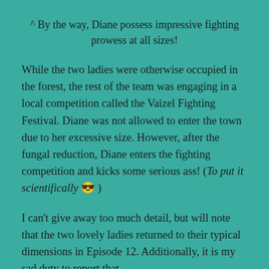^ By the way, Diane possess impressive fighting prowess at all sizes!
While the two ladies were otherwise occupied in the forest, the rest of the team was engaging in a local competition called the Vaizel Fighting Festival. Diane was not allowed to enter the town due to her excessive size. However, after the fungal reduction, Diane enters the fighting competition and kicks some serious ass! (To put it scientifically 😎 )
I can't give away too much detail, but will note that the two lovely ladies returned to their typical dimensions in Episode 12. Additionally, it is my sad duty to report that